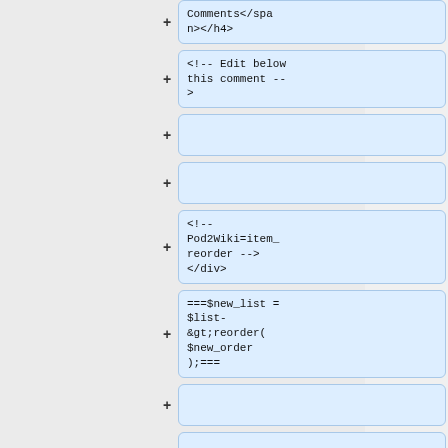[Figure (screenshot): A diff/code viewer UI showing collapsed and expanded code blocks with blue highlighted cards containing code snippets. Left side is a gray panel. Right side shows multiple code cards with + expand buttons. Cards contain: 'Comments</span></h4>', '<!-- Edit below this comment -->', (empty), (empty), '<!-- Pod2Wiki=item_reorder --> </div>', '===$new_list = $list-&gt;reorder($new_order);===', (empty), and one more partially visible.]